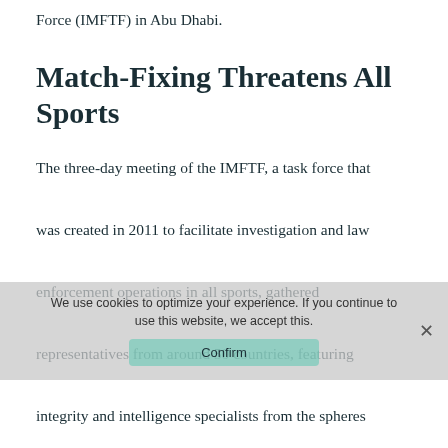Force (IMFTF) in Abu Dhabi.
Match-Fixing Threatens All Sports
The three-day meeting of the IMFTF, a task force that was created in 2011 to facilitate investigation and law enforcement operations in all sports, gathered representatives from around 50 countries, featuring integrity and intelligence specialists from the spheres of law enforcement, public authorities, sports federations, anti-doping agencies, as well as betting